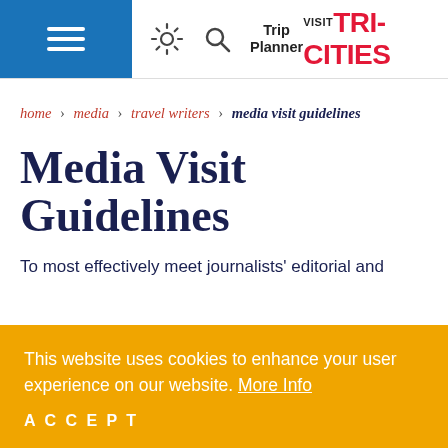VISIT TRI-CITIES — navigation header with hamburger menu, sun icon, search icon, Trip Planner, and Visit Tri-Cities logo
home › media › travel writers › media visit guidelines
Media Visit Guidelines
To most effectively meet journalists' editorial and
This website uses cookies to enhance your user experience on our website. More Info
ACCEPT